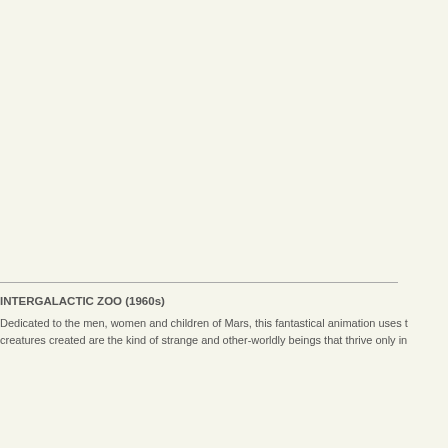INTERGALACTIC ZOO (1960s)
Dedicated to the men, women and children of Mars, this fantastical animation uses t creatures created are the kind of strange and other-worldly beings that thrive only in